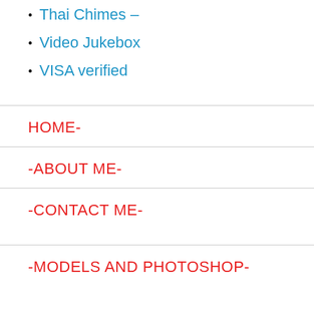Thai Chimes –
Video Jukebox
VISA verified
HOME-
-ABOUT ME-
-CONTACT ME-
-MODELS AND PHOTOSHOP-